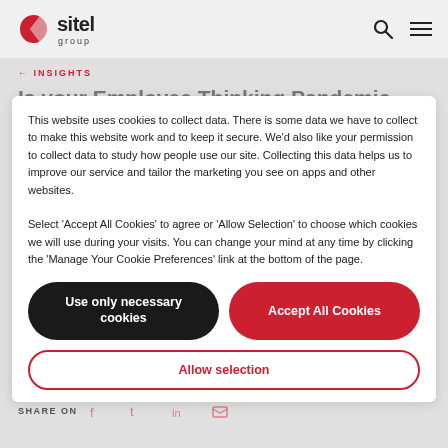Sitel Group
This website uses cookies to collect data. There is some data we have to collect to make this website work and to keep it secure. We'd also like your permission to collect data to study how people use our site. Collecting this data helps us to improve our service and tailor the marketing you see on apps and other websites. Select 'Accept All Cookies' to agree or 'Allow Selection' to choose which cookies we will use during your visits. You can change your mind at any time by clicking the 'Manage Your Cookie Preferences' link at the bottom of the page.
Use only necessary cookies
Accept All Cookies
Allow selection